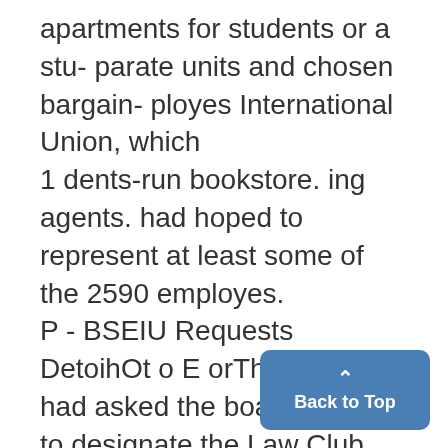apartments for students or a stu- parate units and chosen bargain- ployes International Union, which 1 dents-run bookstore. ing agents. had hoped to represent at least some of the 2590 employes. P - BSEIU Requests DetoihOt o E orThe BSEIU had asked the board; to designate the Law Club, the i Dearborn Center and University, R aps Guard R Rot Action housi separate units, while large unit.